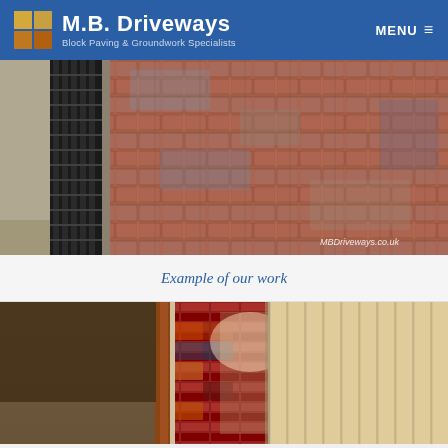M.B. Driveways – Block Paving & Groundwork Specialists | MENU
[Figure (photo): Close-up photo of red/brown block paving driveway with black drainage channel grate on the left side. Watermark reads MBDriveways.co.uk in bottom right.]
Example of our work
[Figure (photo): Photo of block paving installation in progress showing multicoloured bricks being laid between concrete edging, with timber decking visible on the right side.]